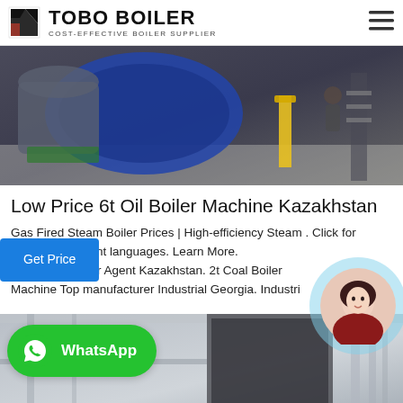TOBO BOILER — COST-EFFECTIVE BOILER SUPPLIER
[Figure (photo): Industrial boiler room with large blue cylindrical boilers, yellow piping, and workers visible in background]
Low Price 6t Oil Boiler Machine Kazakhstan
Gas Fired Steam Boiler Prices | High-efficiency Steam . Click for results in different languages. Learn More. Diesel Fired Boiler Agent Kazakhstan. 2t Coal Boiler Machine Top manufacturer Industrial Georgia. Industri…
[Figure (photo): Industrial facility interior showing ductwork and industrial equipment mounted on walls and ceiling]